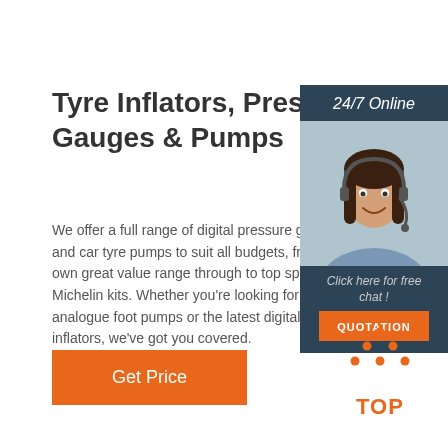Tyre Inflators, Pressure Gauges & Pumps
We offer a full range of digital pressure gauges and car tyre pumps to suit all budgets, from our own great value range through to top spec Michelin kits. Whether you're looking for analogue foot pumps or the latest digital car inflators, we've got you covered.
[Figure (other): Orange 'Get Price' button]
[Figure (photo): Right panel with '24/7 Online' banner, photo of smiling female agent wearing headset, 'Click here for free chat!' text, and orange QUOTATION button on dark blue background]
[Figure (logo): TOP logo in orange with triangle of dots above the word TOP]